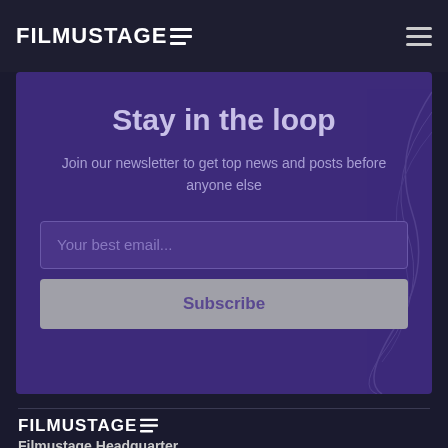FILMUSTAGE
Stay in the loop
Join our newsletter to get top news and posts before anyone else
Your best email...
Subscribe
[Figure (logo): Filmustage logo in footer]
Filmustage Headquarter